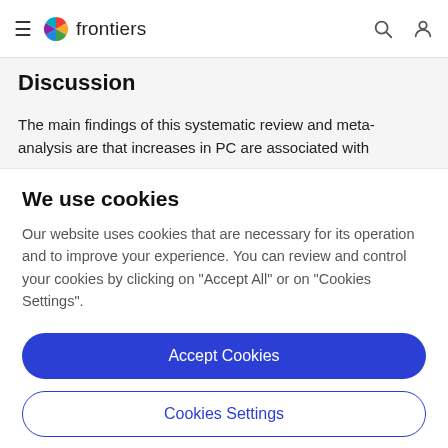frontiers
Discussion
The main findings of this systematic review and meta-analysis are that increases in PC are associated with
We use cookies
Our website uses cookies that are necessary for its operation and to improve your experience. You can review and control your cookies by clicking on "Accept All" or on "Cookies Settings".
Accept Cookies
Cookies Settings